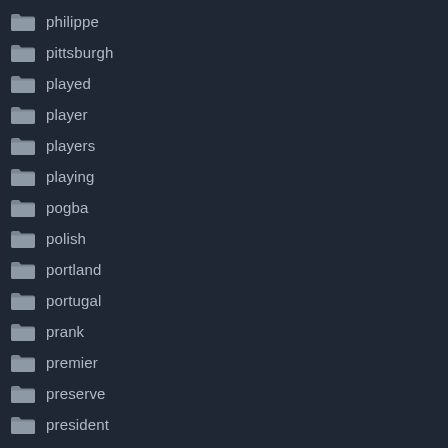philippe
pittsburgh
played
player
players
playing
pogba
polish
portland
portugal
prank
premier
preserve
president
professional
programme
proof
prospective